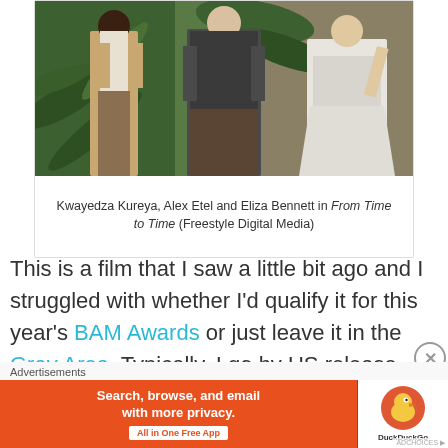[Figure (photo): Three actors standing outdoors: Kwayedza Kureya (left in period vest and white shirt), Alex Etel (center in dark hoodie), and Eliza Bennett (right in white Regency-era dress), with tropical plants and stone wall in background.]
Kwayedza Kureya, Alex Etel and Eliza Bennett in From Time to Time (Freestyle Digital Media)
This is a film that I saw a little bit ago and I struggled with whether I'd qualify it for this year's BAM Awards or just leave it in the Gray Area. Typically, I go by US release date (so long
Advertisements
[Figure (other): DuckDuckGo advertisement banner: orange left side with text 'Search, browse, and email with more privacy. All in One Free App', white right side with DuckDuckGo logo duck icon and brand name.]